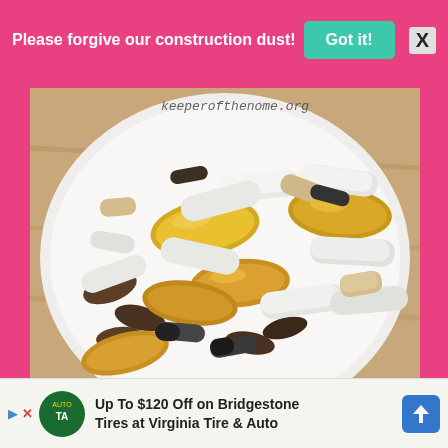Please forgive our construction dust!  Got it!  X
[Figure (photo): A white plate piled with various dietary supplement capsules and pills including large yellow fish oil softgels, white capsules, tan/beige tablets, and dark brown/black capsules. Watermark reads 'keeperofthenome.org']
Up To $120 Off on Bridgestone Tires at Virginia Tire & Auto